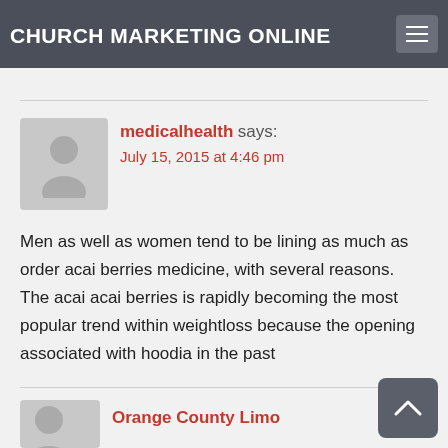CHURCH MARKETING ONLINE
these situations. It is actually required for the professional.
medicalhealth says:
July 15, 2015 at 4:46 pm
Men as well as women tend to be lining as much as order acai berries medicine, with several reasons. The acai acai berries is rapidly becoming the most popular trend within weightloss because the opening associated with hoodia in the past
Orange County Limo